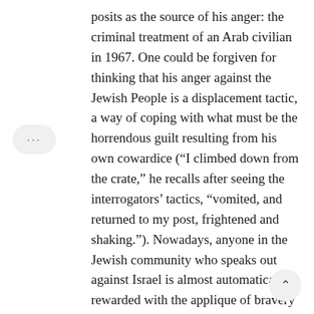posits as the source of his anger: the criminal treatment of an Arab civilian in 1967. One could be forgiven for thinking that his anger against the Jewish People is a displacement tactic, a way of coping with what must be the horrendous guilt resulting from his own cowardice (“I climbed down from the crate,” he recalls after seeing the interrogators’ tactics, “vomited, and returned to my post, frightened and shaking.”). Nowadays, anyone in the Jewish community who speaks out against Israel is almost automatically rewarded with the applique of bravery by the liberal and soft-headed. Perhaps that is what Sands is so desperately seeking: a redemption without struggle or self-examination.